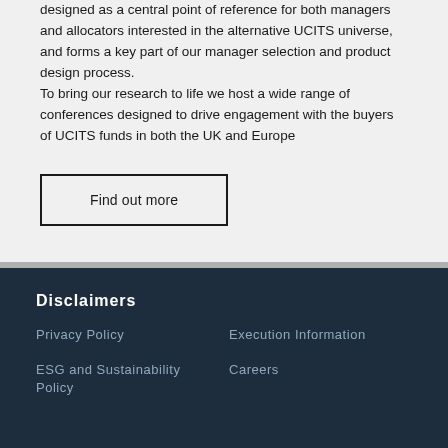designed as a central point of reference for both managers and allocators interested in the alternative UCITS universe, and forms a key part of our manager selection and product design process. To bring our research to life we host a wide range of conferences designed to drive engagement with the buyers of UCITS funds in both the UK and Europe
Find out more
Disclaimers
Privacy Policy
Execution Information
ESG and Sustainability Policy
Careers